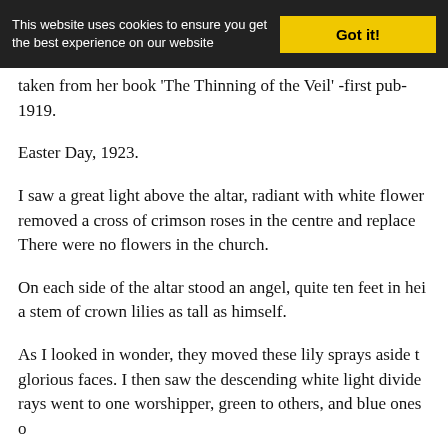[Figure (screenshot): Cookie consent banner with dark background, text 'This website uses cookies to ensure you get the best experience on our website', and a yellow 'Got it!' button]
taken from her book 'The Thinning of the Veil' -first pub 1919.
Easter Day, 1923.
I saw a great light above the altar, radiant with white flower removed a cross of crimson roses in the centre and replace There were no flowers in the church.
On each side of the altar stood an angel, quite ten feet in hei a stem of crown lilies as tall as himself.
As I looked in wonder, they moved these lily sprays aside glorious faces. I then saw the descending white light divide rays went to one worshipper, green to others, and blue ones o
As the rector spoke the first words of the service, the angel h down which came swiftly from the light above a white-robe countenance. She stood between the rector and the first moved, and I noted that she was transparent like crystal a